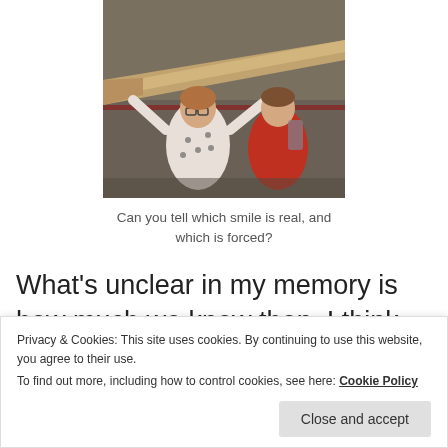[Figure (photo): Two children in a museum, a girl in a white patterned sweater and a boy in a red jacket, posing with a large fossil or bone exhibit.]
Can you tell which smile is real, and which is forced?
What’s unclear in my memory is how much we knew then. I think perhaps we were still somewhat in
Privacy & Cookies: This site uses cookies. By continuing to use this website, you agree to their use.
To find out more, including how to control cookies, see here: Cookie Policy
Close and accept